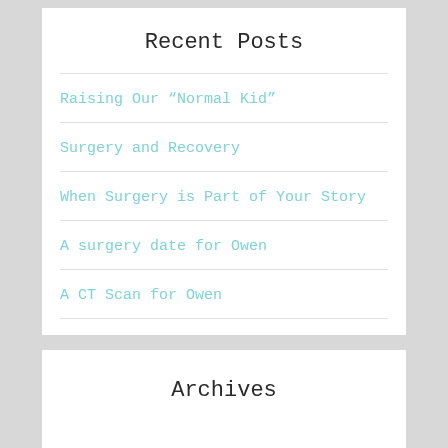Recent Posts
Raising Our “Normal Kid”
Surgery and Recovery
When Surgery is Part of Your Story
A surgery date for Owen
A CT Scan for Owen
Archives